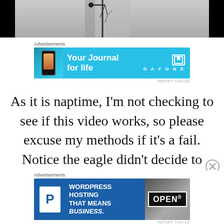[Figure (photo): Outdoor photo strip showing dark/black sides with a center section showing a building and bare trees against a grey sky]
[Figure (photo): Advertisement banner: 'Your Journal for life' - Day One app ad with phone mockup on sky blue background]
As it is naptime, I'm not checking to see if this video works, so please excuse my methods if it's a fail. Notice the eagle didn't decide to endure them. chuckle
[Figure (photo): Advertisement banner: 'WordPress Hosting That Means Business.' with P logo and an OPEN sign photo]